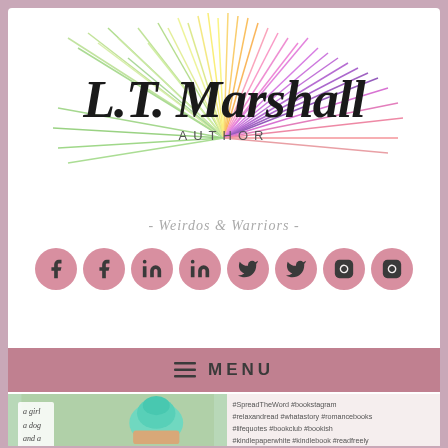[Figure (logo): L.T. Marshall Author logo with colorful feather/rainbow design and script text]
- Weirdos & Warriors -
[Figure (infographic): Row of 8 social media icon buttons (Facebook x2, LinkedIn x2, Twitter x2, Instagram x2) in pink circles]
≡ MENU
[Figure (photo): Photo of cupcake with teal frosting and handwritten card reading 'a girl a dog and a pink car']
#SpreadTheWord #bookstagram #relaxandread #whatastory #romancebooks #lifequotes #bookclub #bookish #kindlepaperwhite #kindlebook #readfreely #supportanauthor #author #authorsofinstagram #getbehindabook #startreading #startreadingagain #startreadingmore #readonebook #readingis...